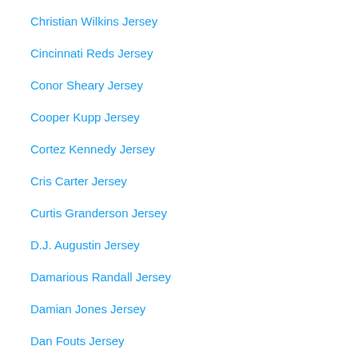Christian Wilkins Jersey
Cincinnati Reds Jersey
Conor Sheary Jersey
Cooper Kupp Jersey
Cortez Kennedy Jersey
Cris Carter Jersey
Curtis Granderson Jersey
D.J. Augustin Jersey
Damarious Randall Jersey
Damian Jones Jersey
Dan Fouts Jersey
Dan McCullers Jersey